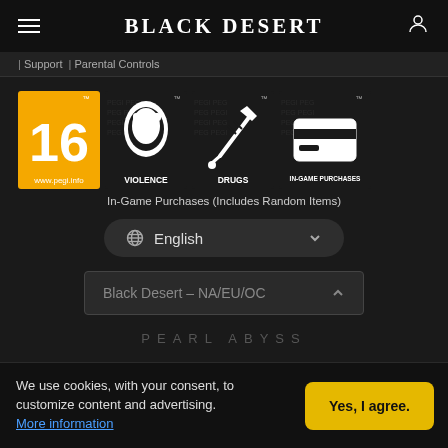Black Desert
Support | Parental Controls
[Figure (illustration): PEGI 16 rating badge, PEGI Violence badge, PEGI Drugs badge, PEGI In-Game Purchases badge]
In-Game Purchases (Includes Random Items)
English (language dropdown)
Black Desert – NA/EU/OC (region dropdown)
PEARL ABYSS
We use cookies, with your consent, to customize content and advertising.
More information
Yes, I agree.